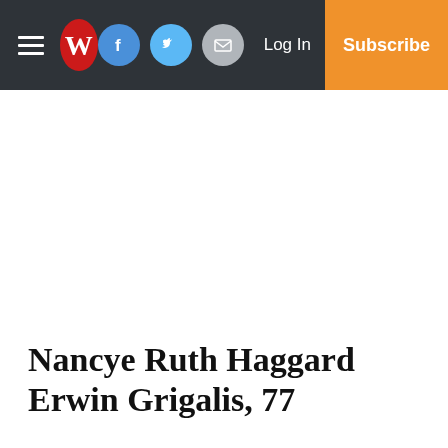W — Log In — Subscribe
Nancye Ruth Haggard Erwin Grigalis, 77